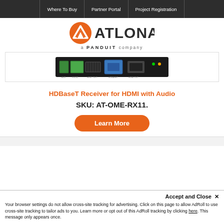Where To Buy | Partner Portal | Project Registration
[Figure (logo): Atlona logo — orange circle with white chevron, text ATLONA., a PANDUIT company]
[Figure (photo): HDBaseT Receiver hardware device rear panel showing ports and connectors]
HDBaseT Receiver for HDMI with Audio
SKU: AT-OME-RX11.
Learn More
Accept and Close ✕
Your browser settings do not allow cross-site tracking for advertising. Click on this page to allow AdRoll to use cross-site tracking to tailor ads to you. Learn more or opt out of this AdRoll tracking by clicking here. This message only appears once.